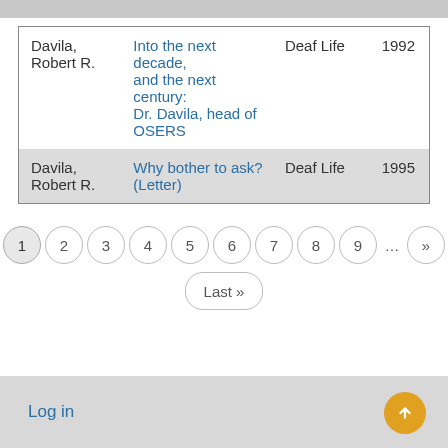| Author | Title | Journal | Year |
| --- | --- | --- | --- |
| Davila, Robert R. | Into the next decade, and the next century: Dr. Davila, head of OSERS | Deaf Life | 1992 |
| Davila, Robert R. | Why bother to ask? (Letter) | Deaf Life | 1995 |
1 2 3 4 5 6 7 8 9 ... » Last »
Log in